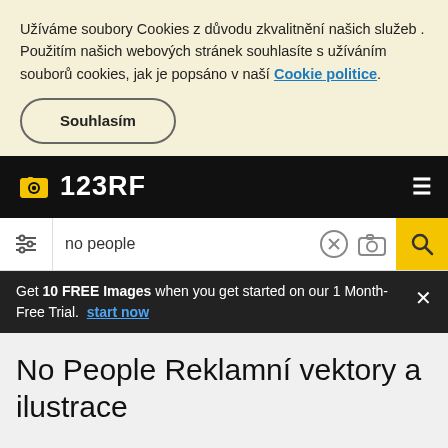Užíváme soubory Cookies z důvodu zkvalitnění našich služeb . Použitím našich webových stránek souhlasíte s užíváním souborů cookies, jak je popsáno v naší Cookie politice.
Souhlasím
[Figure (logo): 123RF logo with yellow camera icon on black navigation bar]
no people
Get 10 FREE Images when you get started on our 1 Month-Free Trial. start now
No People Reklamní vektory a ilustrace